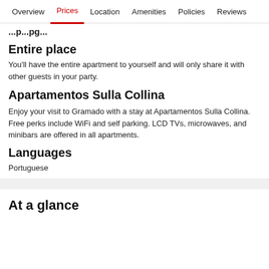Overview  Prices  Location  Amenities  Policies  Reviews
Entire place
You'll have the entire apartment to yourself and will only share it with other guests in your party.
Apartamentos Sulla Collina
Enjoy your visit to Gramado with a stay at Apartamentos Sulla Collina. Free perks include WiFi and self parking. LCD TVs, microwaves, and minibars are offered in all apartments.
Languages
Portuguese
At a glance